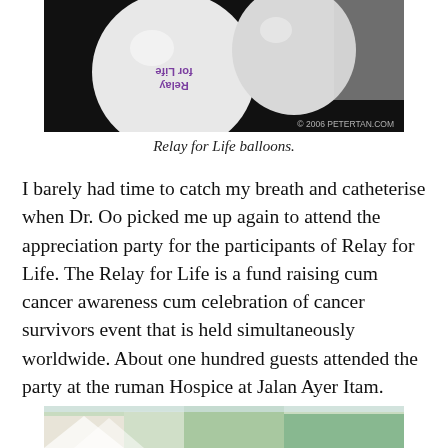[Figure (photo): Photo of white balloons with 'Relay for Life' text printed on them, against a dark background. Watermark reads '© 2006 PETERTAN.COM']
Relay for Life balloons.
I barely had time to catch my breath and catheterise when Dr. Oo picked me up again to attend the appreciation party for the participants of Relay for Life. The Relay for Life is a fund raising cum cancer awareness cum celebration of cancer survivors event that is held simultaneously worldwide. About one hundred guests attended the party at the ruman Hospice at Jalan Ayer Itam.
[Figure (photo): Partial view of a photo showing an outdoor scene with greenery, partially cropped at the bottom of the page.]